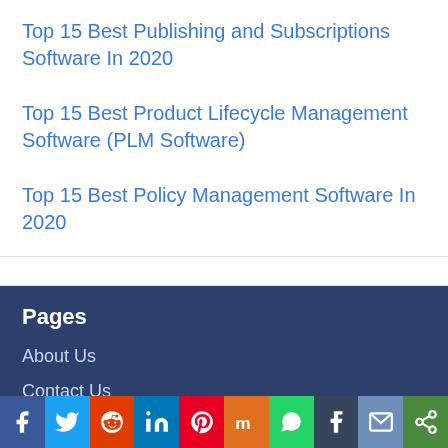Top 15 Best Publishing and Subscriptions Software In 2020
Top 15 Best Product Lifecycle Management Software (PLM Software)
Top 15 Best Policy Management Software In 2020
Pages
About Us
Contact Us
Disclaimer
Social share bar: Facebook, Twitter, Reddit, LinkedIn, Pinterest, Mix, WhatsApp, Tumblr, Email, Share